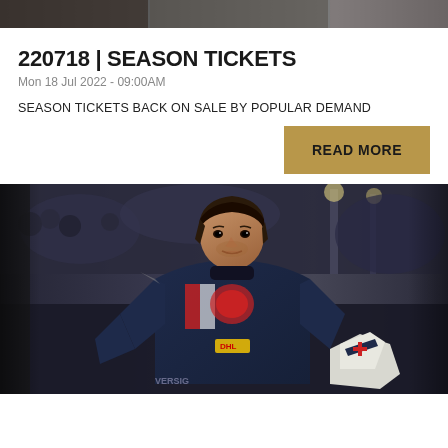[Figure (photo): Top strip banner image showing partial hockey or sports imagery in dark tones]
220718 | SEASON TICKETS
Mon 18 Jul 2022 - 09:00AM
SEASON TICKETS BACK ON SALE BY POPULAR DEMAND
READ MORE
[Figure (photo): Ice hockey goalie/player in dark blue jersey holding goalie equipment, looking to the side, arena in background]